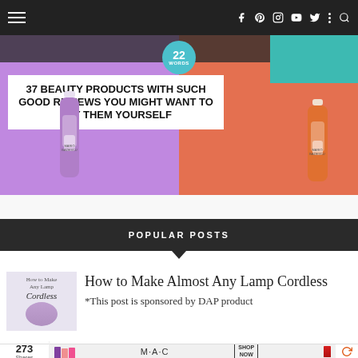Navigation bar with hamburger menu and social icons: f, Pinterest, Instagram, YouTube, Twitter, more, search
[Figure (photo): Promotional image for '37 Beauty Products With Such Good Reviews You Might Want To Try Them Yourself' from 22 Words, featuring Mario Badescu facial spray bottles on purple and orange backgrounds]
POPULAR POSTS
How to Make Almost Any Lamp Cordless
*This post is sponsored by DAP product
273 Shares
[Figure (photo): MAC Cosmetics advertisement showing lipsticks in purple, pink, and red with 'SHOP NOW' button and M·A·C logo]